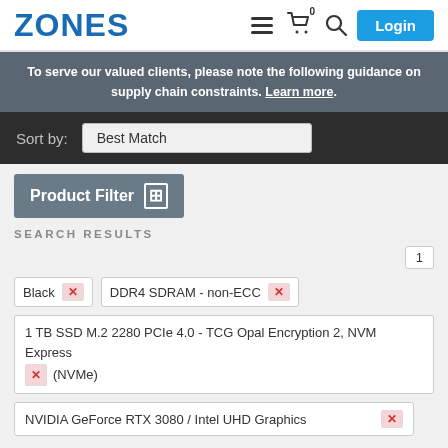ZONES
To serve our valued clients, please note the following guidance on supply chain constraints. Learn more.
Sort by: Best Match
Product Filter
SEARCH RESULTS
1
Black ×
DDR4 SDRAM - non-ECC ×
1 TB SSD M.2 2280 PCIe 4.0 - TCG Opal Encryption 2, NVM Express (NVMe) ×
NVIDIA GeForce RTX 3080 / Intel UHD Graphics ×